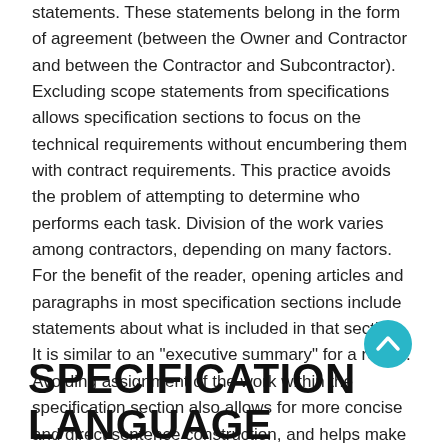statements. These statements belong in the form of agreement (between the Owner and Contractor and between the Contractor and Subcontractor). Excluding scope statements from specifications allows specification sections to focus on the technical requirements without encumbering them with contract requirements. This practice avoids the problem of attempting to determine who performs each task. Division of the work varies among contractors, depending on many factors. For the benefit of the reader, opening articles and paragraphs in most specification sections include statements about what is included in that section. It is similar to an "executive summary" for a report. Avoiding assignment of the work within the specification section also allows for more concise and direct sentence construction, and helps make the specifications easier to read and understand.
[Figure (other): Teal/cyan circular scroll-to-top button with upward chevron arrow]
SPECIFICATION LANGUAGE